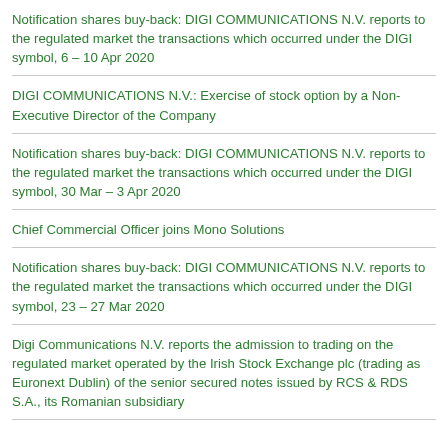Notification shares buy-back: DIGI COMMUNICATIONS N.V. reports to the regulated market the transactions which occurred under the DIGI symbol, 6 – 10 Apr 2020
DIGI COMMUNICATIONS N.V.: Exercise of stock option by a Non-Executive Director of the Company
Notification shares buy-back: DIGI COMMUNICATIONS N.V. reports to the regulated market the transactions which occurred under the DIGI symbol, 30 Mar – 3 Apr 2020
Chief Commercial Officer joins Mono Solutions
Notification shares buy-back: DIGI COMMUNICATIONS N.V. reports to the regulated market the transactions which occurred under the DIGI symbol, 23 – 27 Mar 2020
Digi Communications N.V. reports the admission to trading on the regulated market operated by the Irish Stock Exchange plc (trading as Euronext Dublin) of the senior secured notes issued by RCS & RDS S.A., its Romanian subsidiary